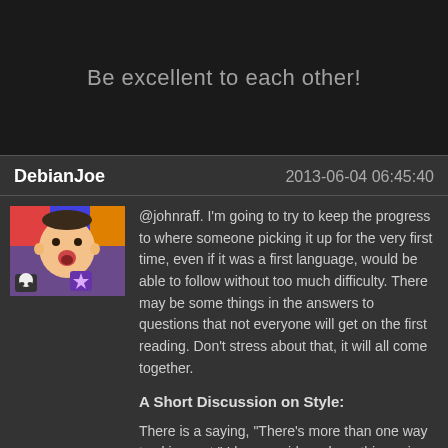Be excellent to each other!
DebianJoe    2013-06-04 06:45:40
[Figure (photo): User avatar photo of a baby/toddler with mouth open, colorful background]
@johnraff.  I'm going to try to keep the progress to where someone picking it up for the very first time, even if it was a first language, would be able to follow without too much difficulty.  There may be some things in the answers to questions that not everyone will get on the first reading.  Don't stress about that, it will all come together.
A Short Discussion on Style:
There is a saying, "There's more than one way to skin a cat."  I have no idea where this saying originated, as I've never been in a situation where skinning a cat would be necessary.  What